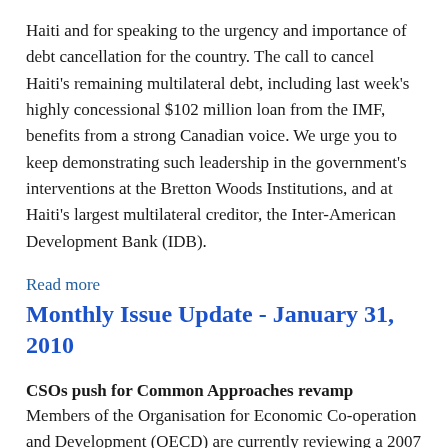Haiti and for speaking to the urgency and importance of debt cancellation for the country. The call to cancel Haiti's remaining multilateral debt, including last week's highly concessional $102 million loan from the IMF, benefits from a strong Canadian voice. We urge you to keep demonstrating such leadership in the government's interventions at the Bretton Woods Institutions, and at Haiti's largest multilateral creditor, the Inter-American Development Bank (IDB).
Read more
Monthly Issue Update - January 31, 2010
CSOs push for Common Approaches revamp
Members of the Organisation for Economic Co-operation and Development (OECD) are currently reviewing a 2007 Council Recommendation regarding export credit agency (ECA) operations. The Recommendation on Common